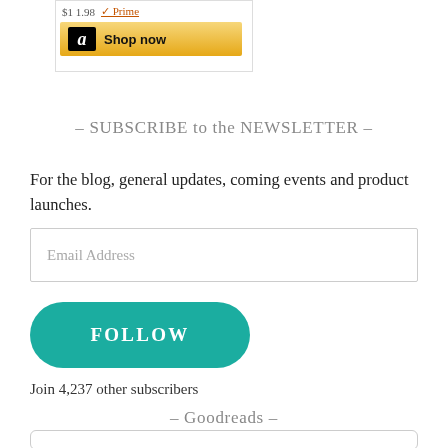[Figure (screenshot): Amazon product widget showing price and a gold 'Shop now' button with Amazon logo]
- SUBSCRIBE to the NEWSLETTER -
For the blog, general updates, coming events and product launches.
[Figure (other): Email Address input field]
[Figure (other): FOLLOW button in teal/green color]
Join 4,237 other subscribers
- Goodreads -
[Figure (other): Goodreads widget box (partial)]